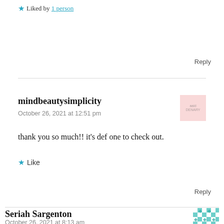★ Liked by 1 person
Reply
mindbeautysimplicity
October 26, 2021 at 12:51 pm
thank you so much!! it's def one to check out.
★ Like
Reply
Seriah Sargenton
October 26, 2021 at 8:13 am
Awe B, I love this so much. It's inspirational.